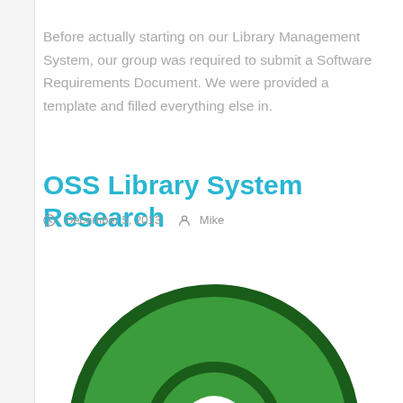Before actually starting on our Library Management System, our group was required to submit a Software Requirements Document. We were provided a template and filled everything else in.
OSS Library System Research
December 5, 2013   Mike
[Figure (illustration): Green circular OSS logo — a large dark-green bordered green circle with a smaller concentric dark-green bordered circle in the center, and a white circle at the center of the inner ring. The bottom portion of the logo is cropped by the page edge.]